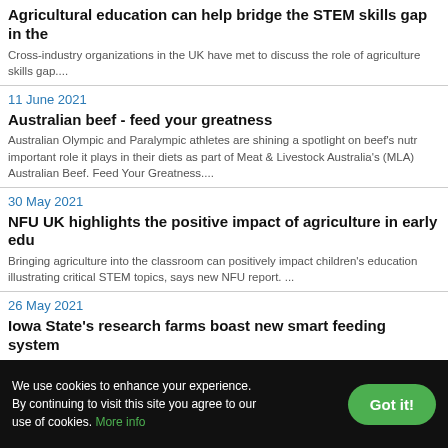Agricultural education can help bridge the STEM skills gap in the
Cross-industry organizations in the UK have met to discuss the role of agriculture skills gap....
11 June 2021
Australian beef - feed your greatness
Australian Olympic and Paralympic athletes are shining a spotlight on beef's nutr important role it plays in their diets as part of Meat & Livestock Australia's (MLA) Australian Beef. Feed Your Greatness....
30 May 2021
NFU UK highlights the positive impact of agriculture in early edu
Bringing agriculture into the classroom can positively impact children's education illustrating critical STEM topics, says new NFU report. ...
26 May 2021
Iowa State's research farms boast new smart feeding system
Iowa State's research farms are embracing smart feed systems and new precisio
We use cookies to enhance your experience. By continuing to visit this site you agree to our use of cookies. More info